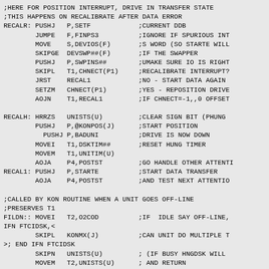;HERE FOR POSITION INTERRUPT, DRIVE IN TRANSFER STATE
;THIS HAPPENS ON RECALIBRATE AFTER DATA ERROR
RECALR: PUSHJ   P,SETF            ;CURRENT DDB
        JUMPE   F,FINPS3          ;IGNORE IF SPURIOUS INT
        MOVE    S,DEVIOS(F)       ;S WORD (SO STARTE WILL
        SKIPGE  DEVSWP##(F)       ;IF THE SWAPPER
        PUSHJ   P,SWPINS##        ;UMAKE SURE IO IS RIGHT
        SKIPL   T1,CHNECT(P1)     ;RECALIBRATE INTERRUPT?
        JRST    RECAL1            ;NO - START DATA AGAIN
        SETZM   CHNECT(P1)        ;YES - REPOSITION DRIVE
        AOJN    T1,RECAL1         ;IF CHNECT=-1,,0 OFFSET

RECALH: HRRZS   UNISTS(U)         ;CLEAR SIGN BIT (PHUNG
        PUSHJ   P,@KONPOS(J)      ;START POSITION
          PUSHJ P,BADUNI          ;DRIVE IS NOW DOWN
        MOVEI   T1,DSKTIM##       ;RESET HUNG TIMER
        MOVEM   T1,UNITIM(U)
        AOJA    P4,POSTST         ;GO HANDLE OTHER ATTENTI
RECAL1: PUSHJ   P,STARTE          ;START DATA TRANSFER
        AOJA    P4,POSTST         ;AND TEST NEXT ATTENTIO

;CALLED BY KON ROUTINE WHEN A UNIT GOES OFF-LINE
;PRESERVES T1
FILDN:: MOVEI   T2,O2COD          ;IF  IDLE SAY OFF-LINE,
IFN FTCIDSK,<
        SKIPL   KONMX(J)          ;CAN UNIT DO MULTIPLE T
>; END IFN FTCIDSK
        SKIPN   UNISTS(U)         ; (IF BUSY HNGDSK WILL
        MOVEM   T2,UNISTS(U)      ; AND RETURN
IFE FTCIDSK,<